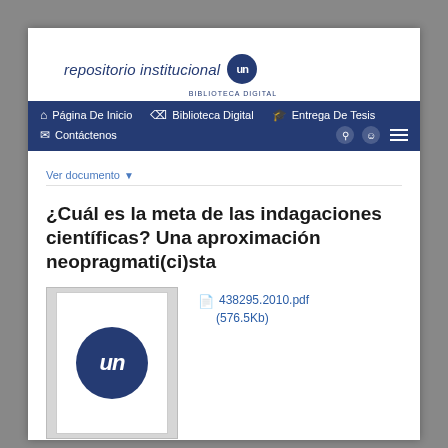[Figure (logo): Repositorio institucional UN (Universidad Nacional) logo with blue circle badge and 'BIBLIOTECA DIGITAL' subtitle]
Página De Inicio  Biblioteca Digital  Entrega De Tesis  Contáctenos
Ver documento ▾
¿Cuál es la meta de las indagaciones científicas? Una aproximación neopragmati(ci)sta
[Figure (logo): Document thumbnail preview showing the UN logo (blue circle with 'un' text) on white background]
438295.2010.pdf (576.5Kb)